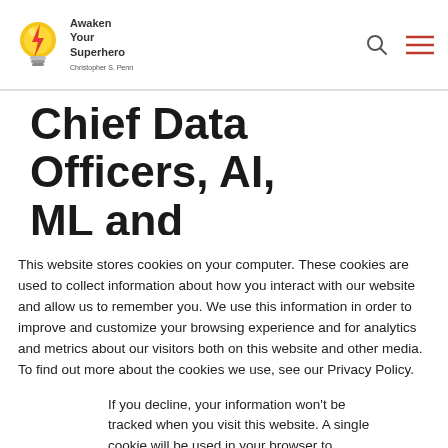[Figure (logo): Awaken Your Superhero logo with lightbulb/lightning bolt icon and text 'Awaken Your Superhero Christopher S. Penn']
Chief Data Officers, AI, ML and Influencers on
This website stores cookies on your computer. These cookies are used to collect information about how you interact with our website and allow us to remember you. We use this information in order to improve and customize your browsing experience and for analytics and metrics about our visitors both on this website and other media. To find out more about the cookies we use, see our Privacy Policy.
If you decline, your information won't be tracked when you visit this website. A single cookie will be used in your browser to remember your preference not to be tracked.